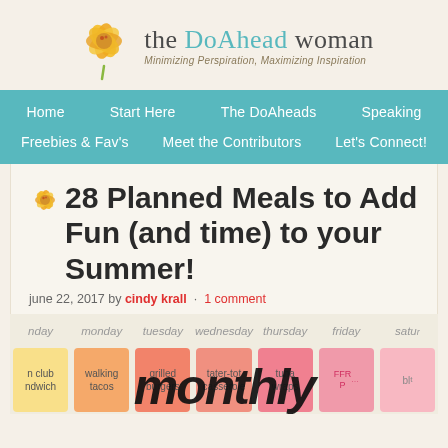[Figure (logo): The DoAhead Woman blog logo with yellow flower and teal text. Tagline: Minimizing Perspiration, Maximizing Inspiration]
Home | Start Here | The DoAheads | Speaking | Freebies & Fav's | Meet the Contributors | Let's Connect!
28 Planned Meals to Add Fun (and time) to your Summer!
june 22, 2017 by cindy krall · 1 comment
[Figure (screenshot): Partial weekly meal plan calendar showing days: sunday, monday, tuesday, wednesday, thursday, friday, saturday with colored cards and meal names. Cards include: n club ndwich (yellow), walking tacos (orange), grilled burgers (salmon), tater-tot casserole (peach), tuna wraps (pink), friday card (partially covered), blt (light pink). Monthly overlay text in large bold italic at bottom.]